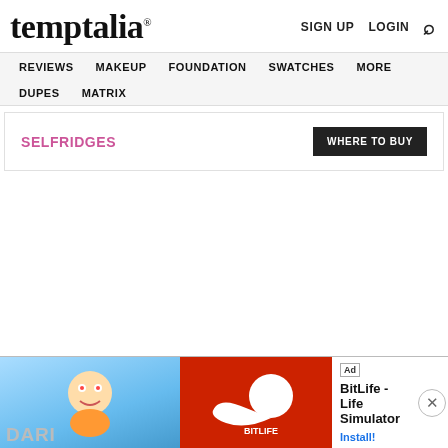temptalia®
SIGN UP  LOGIN  🔍
REVIEWS  MAKEUP  FOUNDATION  SWATCHES  MORE  DUPES  MATRIX
SELFRIDGES
WHERE TO BUY
Ad  BitLife - Life Simulator  Install!
DARI